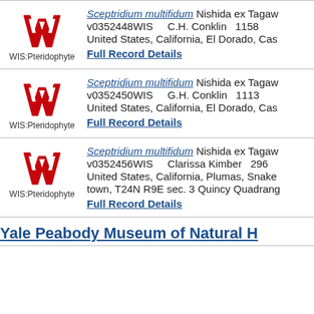WIS:Pteridophyte | Sceptridium multifidum Nishida ex Tagaw v0352448WIS  C.H. Conklin  1158  United States, California, El Dorado, Cas... | Full Record Details
WIS:Pteridophyte | Sceptridium multifidum Nishida ex Tagaw v0352450WIS  G.H. Conklin  1113  United States, California, El Dorado, Cas... | Full Record Details
WIS:Pteridophyte | Sceptridium multifidum Nishida ex Tagaw v0352456WIS  Clarissa Kimber  296  United States, California, Plumas, Snake town, T24N R9E sec. 3 Quincy Quadrang... | Full Record Details
Yale Peabody Museum of Natural H...